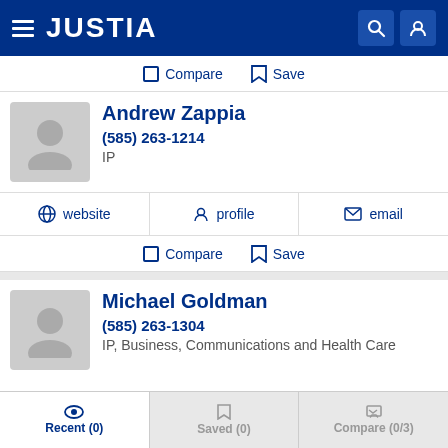JUSTIA
Compare  Save
Andrew Zappia
(585) 263-1214
IP
website  profile  email
Compare  Save
Michael Goldman
(585) 263-1304
IP, Business, Communications and Health Care
Recent (0)  Saved (0)  Compare (0/3)